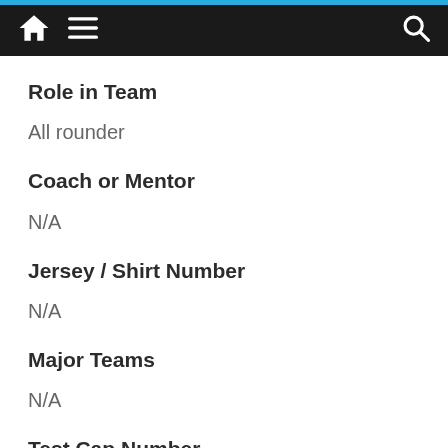Navigation bar with home, menu, and search icons
Role in Team
All rounder
Coach or Mentor
N/A
Jersey / Shirt Number
N/A
Major Teams
N/A
Test Cap Number